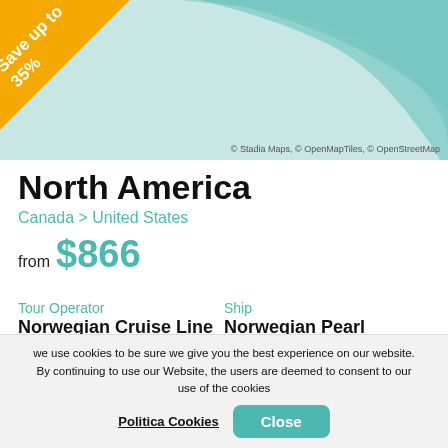[Figure (map): Teal/mint colored map of North America with Save up to 35% yellow triangle badge in top-left corner. Map credit: © Stadia Maps, © OpenMapTiles, © OpenStreetMap]
North America
Canada > United States
from $866
Tour Operator
Norwegian Cruise Line
Ship
Norwegian Pearl
Depart from
Quebec City
Length
7 Nights
Departure Date
Arrival Date
we use cookies to be sure we give you the best experience on our website. By continuing to use our Website, the users are deemed to consent to our use of the cookies
Politica Cookies
Close